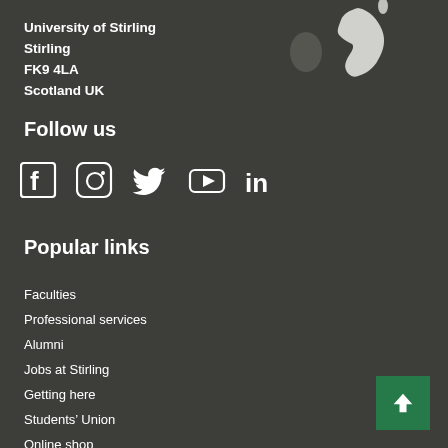University of Stirling
Stirling
FK9 4LA
Scotland UK
[Figure (map): Silhouette map of Great Britain and Ireland in white on dark background]
Follow us
[Figure (infographic): Row of social media icons: Facebook, Instagram, Twitter, YouTube, LinkedIn]
Popular links
Faculties
Professional services
Alumni
Jobs at Stirling
Getting here
Students' Union
Online shop
Blog